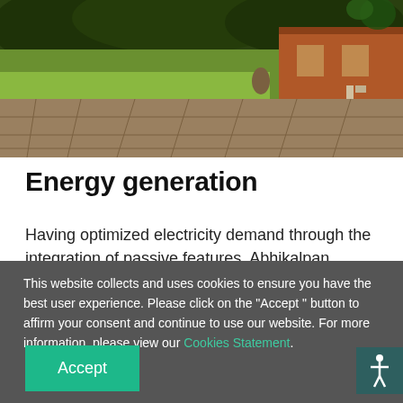[Figure (photo): Outdoor photograph showing a garden/courtyard area with cobblestone paving, green lawn, trees, and a brick building in the background]
Energy generation
Having optimized electricity demand through the integration of passive features, Abhikalpan Office's
This website collects and uses cookies to ensure you have the best user experience. Please click on the "Accept " button to affirm your consent and continue to use our website. For more information, please view our Cookies Statement.
Accept